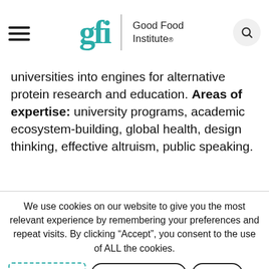Good Food Institute
universities into engines for alternative protein research and education. Areas of expertise: university programs, academic ecosystem-building, global health, design thinking, effective altruism, public speaking.
We use cookies on our website to give you the most relevant experience by remembering your preferences and repeat visits. By clicking “Accept”, you consent to the use of ALL the cookies.
Privacy notice | COOKIE SETTINGS | REJECT
ACCEPT